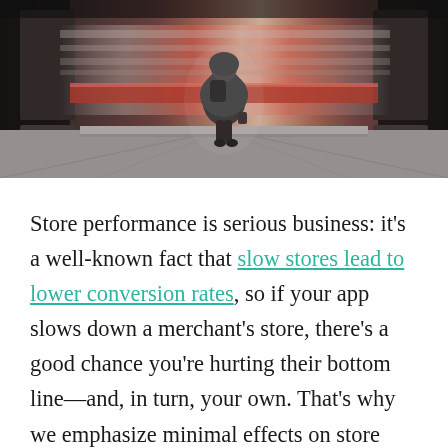[Figure (photo): A person with a backpack standing in a subway/metro station, viewed from behind, with a blurred motion train passing in background. Scene is moody with red and grey tones.]
Store performance is serious business: it's a well-known fact that slow stores lead to lower conversion rates, so if your app slows down a merchant's store, there's a good chance you're hurting their bottom line—and, in turn, your own. That's why we emphasize minimal effects on store performance as part of our requirements to be listed in the Shopify App